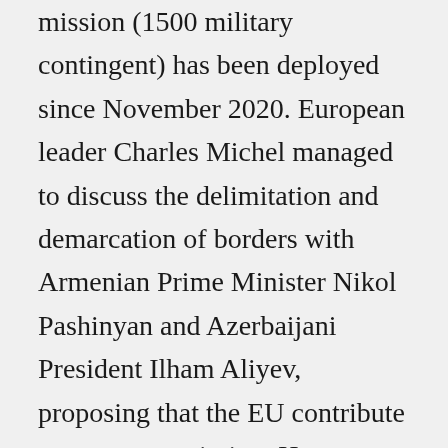mission (1500 military contingent) has been deployed since November 2020. European leader Charles Michel managed to discuss the delimitation and demarcation of borders with Armenian Prime Minister Nikol Pashinyan and Azerbaijani President Ilham Aliyev, proposing that the EU contribute to an expert mission. However, Russia's role could be crucial for a achieving a progress, as it is (for the time being) accepted by both parties. A possible deadlock could emerge if Armenia tries to replace Russian mediation with European mediation, which is viewed